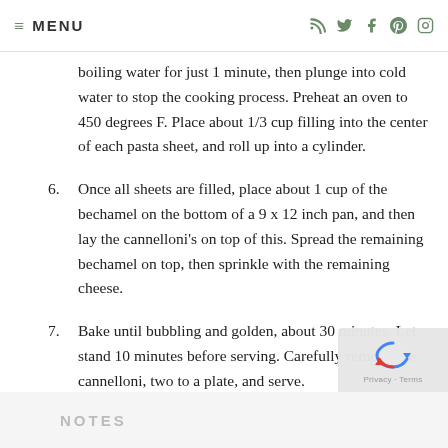≡ MENU
boiling water for just 1 minute, then plunge into cold water to stop the cooking process. Preheat an oven to 450 degrees F. Place about 1/3 cup filling into the center of each pasta sheet, and roll up into a cylinder.
6. Once all sheets are filled, place about 1 cup of the bechamel on the bottom of a 9 x 12 inch pan, and then lay the cannelloni's on top of this. Spread the remaining bechamel on top, then sprinkle with the remaining cheese.
7. Bake until bubbling and golden, about 30 minutes. Let stand 10 minutes before serving. Carefully remove the cannelloni, two to a plate, and serve.
NOTES